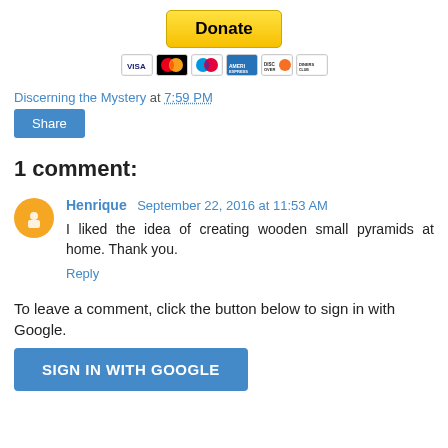[Figure (other): PayPal Donate button with credit card icons (VISA, Mastercard, Maestro, American Express, Discover, Diners Club)]
Discerning the Mystery at 7:59 PM
Share
1 comment:
Henrique  September 22, 2016 at 11:53 AM
I liked the idea of creating wooden small pyramids at home. Thank you.
Reply
To leave a comment, click the button below to sign in with Google.
SIGN IN WITH GOOGLE